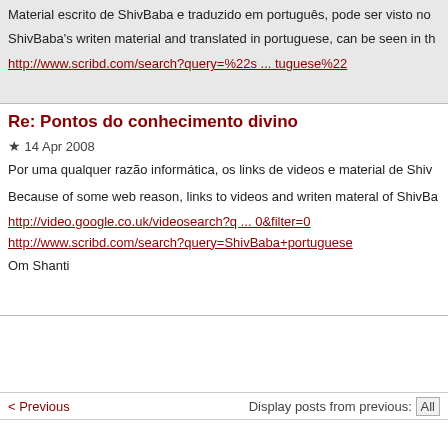Material escrito de ShivBaba e traduzido em português, pode ser visto no
ShivBaba's writen material and translated in portuguese, can be seen in th
http://www.scribd.com/search?query=%22s ... tuguese%22
Re: Pontos do conhecimento divino
★ 14 Apr 2008
Por uma qualquer razão informática, os links de videos e material de Shiv
Because of some web reason, links to videos and writen materal of ShivBa
http://video.google.co.uk/videosearch?q ... 0&filter=0
http://www.scribd.com/search?query=ShivBaba+portuguese
Om Shanti
< Previous    Display posts from previous: All